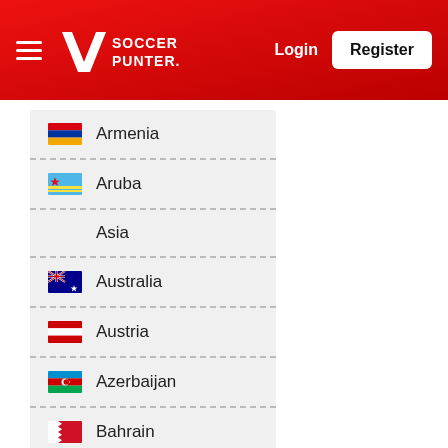Soccer Punter — Login | Register
Armenia
Aruba
Asia
Australia
Austria
Azerbaijan
Bahrain